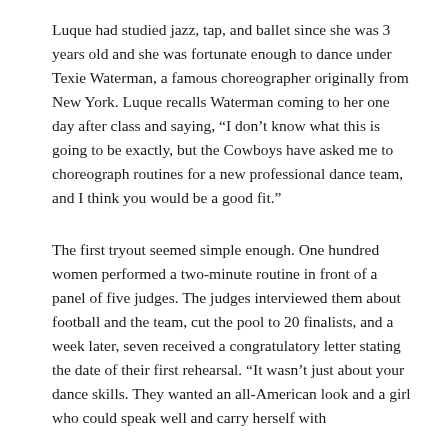Luque had studied jazz, tap, and ballet since she was 3 years old and she was fortunate enough to dance under Texie Waterman, a famous choreographer originally from New York. Luque recalls Waterman coming to her one day after class and saying, “I don’t know what this is going to be exactly, but the Cowboys have asked me to choreograph routines for a new professional dance team, and I think you would be a good fit.”
The first tryout seemed simple enough. One hundred women performed a two-minute routine in front of a panel of five judges. The judges interviewed them about football and the team, cut the pool to 20 finalists, and a week later, seven received a congratulatory letter stating the date of their first rehearsal. “It wasn’t just about your dance skills. They wanted an all-American look and a girl who could speak well and carry herself with